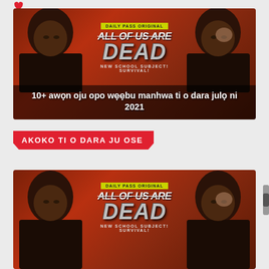[Figure (illustration): Manhwa promotional banner for 'All of Us Are Dead' showing two anime-style characters with dark hair flanking the title text on a dark red textured background. Badge reads 'DAILY PASS ORIGINAL'. Subtitle: 'NEW SCHOOL SUBJECT! SURVIVAL!']
10+ awọn oju opo wẹẹbu manhwa ti o dara julọ ni 2021
AKOKO TI O DARA JU OSE
[Figure (illustration): Second instance of the same manhwa promotional banner for 'All of Us Are Dead' — same layout, two characters, dark red background, DAILY PASS ORIGINAL badge, title 'ALL OF US ARE DEAD', subtitle 'NEW SCHOOL SUBJECT! SURVIVAL!']